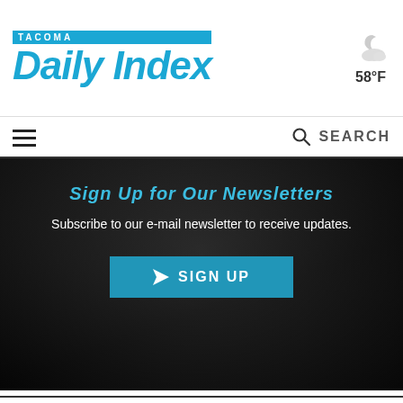TACOMA Daily Index
[Figure (other): Weather icon showing partly cloudy night, 58°F]
SEARCH
[Figure (infographic): Dark newsletter signup banner with text 'Sign Up for Our Newsletters', 'Subscribe to our e-mail newsletter to receive updates.' and a blue SIGN UP button]
MORE STORIES FROM THIS AUTHOR